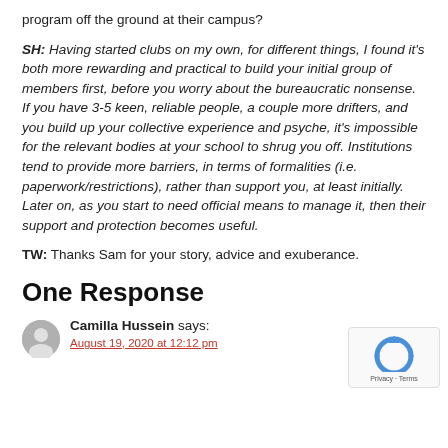program off the ground at their campus?
SH: Having started clubs on my own, for different things, I found it's both more rewarding and practical to build your initial group of members first, before you worry about the bureaucratic nonsense. If you have 3-5 keen, reliable people, a couple more drifters, and you build up your collective experience and psyche, it's impossible for the relevant bodies at your school to shrug you off. Institutions tend to provide more barriers, in terms of formalities (i.e. paperwork/restrictions), rather than support you, at least initially. Later on, as you start to need official means to manage it, then their support and protection becomes useful.
TW: Thanks Sam for your story, advice and exuberance.
One Response
[Figure (logo): reCAPTCHA badge with recycling arrow logo and 'Privacy - Terms' text]
Camilla Hussein says:
August 19, 2020 at 12:12 pm